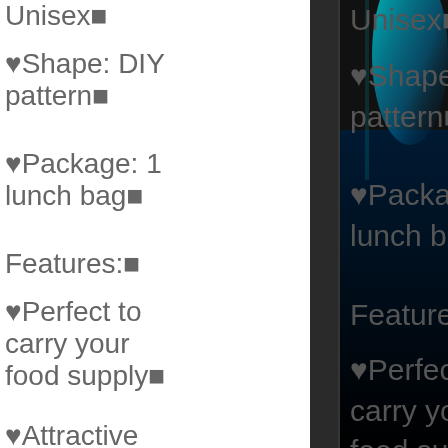Unisex■
♥Shape: DIY pattern■
♥Package: 1 lunch bag■
Features:■
♥Perfect to carry your food supply■
♥Attractive bright colors■
♥ Great zippers and stitching■
♥Food safety PEVA lining, easy to clean■
[Figure (photo): Dark blurred photo with teal/cyan light streak on right side of page]